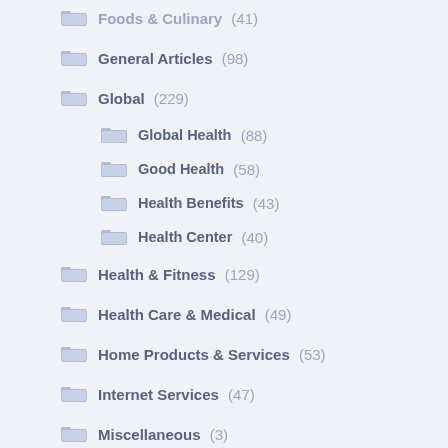Foods & Culinary (41)
General Articles (98)
Global (229)
Global Health (88)
Good Health (58)
Health Benefits (43)
Health Center (40)
Health & Fitness (129)
Health Care & Medical (49)
Home Products & Services (53)
Internet Services (47)
Miscellaneous (3)
Personal Product & Services (47)